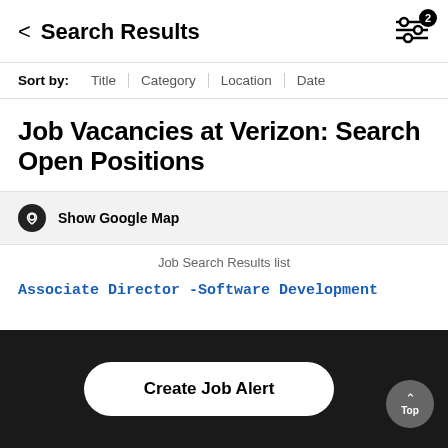< Search Results
Sort by: Title | Category | Location | Date
Job Vacancies at Verizon: Search Open Positions
Show Google Map
Job Search Results list
Associate Director -Software Development
Technology
Basking Ridge, New Jersey
2022-08-18
Create Job Alert